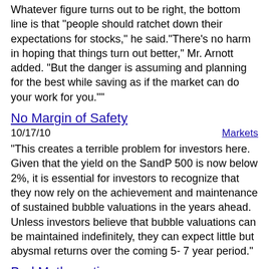Whatever figure turns out to be right, the bottom line is that "people should ratchet down their expectations for stocks," he said."There's no harm in hoping that things turn out better," Mr. Arnott added. "But the danger is assuming and planning for the best while saving as if the market can do your work for you.""
No Margin of Safety
10/17/10   Markets
"This creates a terrible problem for investors here. Given that the yield on the SandP 500 is now below 2%, it is essential for investors to recognize that they now rely on the achievement and maintenance of sustained bubble valuations in the years ahead. Unless investors believe that bubble valuations can be maintained indefinitely, they can expect little but abysmal returns over the coming 5- 7 year period."
Bad Mathematics
10/17/10   Academia
"It is likely that someone who engaged in